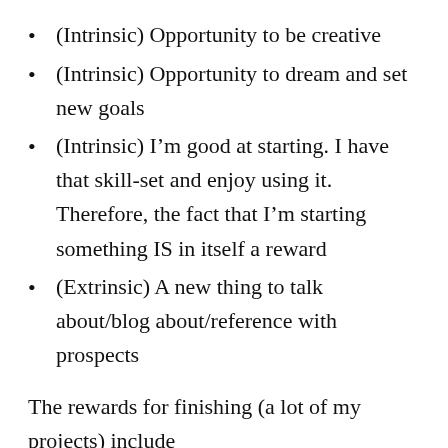(Intrinsic) Opportunity to be creative
(Intrinsic) Opportunity to dream and set new goals
(Intrinsic) I’m good at starting. I have that skill-set and enjoy using it. Therefore, the fact that I’m starting something IS in itself a reward
(Extrinsic) A new thing to talk about/blog about/reference with prospects
The rewards for finishing (a lot of my projects) include